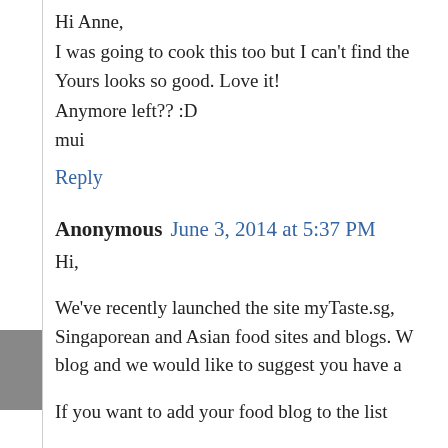Hi Anne,
I was going to cook this too but I can't find the
Yours looks so good. Love it!
Any more left?? :D
mui
Reply
Anonymous June 3, 2014 at 5:37 PM
Hi,
We've recently launched the site myTaste.sg,
Singaporean and Asian food sites and blogs. W
blog and we would like to suggest you have a
If you want to add your food blog to the list